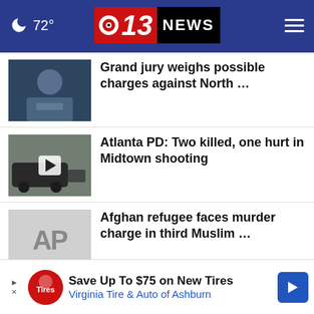72° CBS 13 NEWS
[Figure (photo): Thumbnail photo of a man in a suit]
Grand jury weighs possible charges against North …
[Figure (photo): Thumbnail photo of a police SUV on a street with play icon]
Atlanta PD: Two killed, one hurt in Midtown shooting
[Figure (logo): Associated Press (AP) logo placeholder]
Afghan refugee faces murder charge in third Muslim …
[Figure (photo): Thumbnail photo of R Kelly in sunglasses]
Accuser's mom: R Kelly's threats made her fear for …
More Stories ›
[Figure (infographic): Advertisement: Save Up To $75 on New Tires — Virginia Tire & Auto of Ashburn]